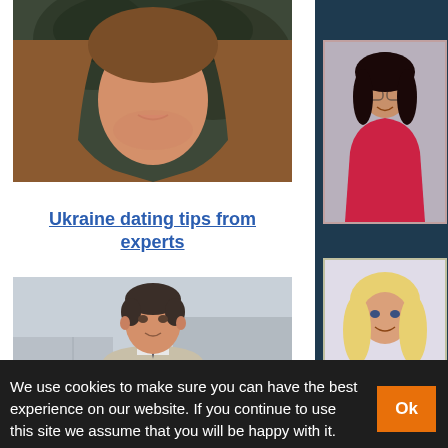[Figure (photo): Close-up photo of a young woman with long flowing brown/auburn hair, partially visible face, outdoor setting with dark greenery background.]
Ukraine dating tips from experts
[Figure (photo): Young man in a beige/cream sweater standing in front of modern building exterior, city setting.]
Best ukrainian cities to meet women
[Figure (photo): Woman in red outfit with dark hair and glasses, smiling, sidebar image.]
[Figure (photo): Blonde woman smiling, partial view, sidebar image.]
We use cookies to make sure you can have the best experience on our website. If you continue to use this site we assume that you will be happy with it.